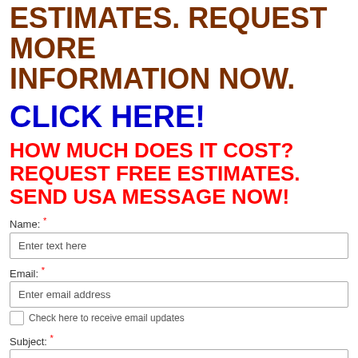ESTIMATES. REQUEST MORE INFORMATION NOW.
CLICK HERE!
HOW MUCH DOES IT COST? REQUEST FREE ESTIMATES. SEND USA MESSAGE NOW!
Name: *
Enter text here
Email: *
Enter email address
Check here to receive email updates
Subject: *